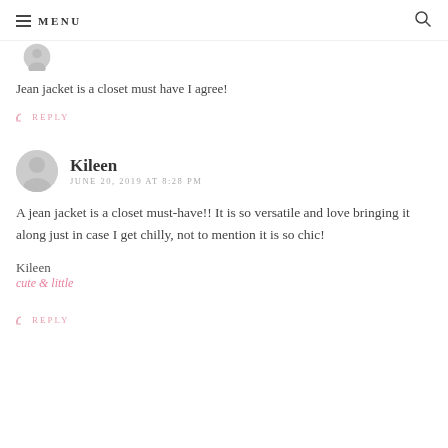MENU
[Figure (photo): Partial avatar circle of a commenter, cropped at top]
Jean jacket is a closet must have I agree!
↩ REPLY
[Figure (photo): Gray default avatar circle for Kileen]
Kileen
JUNE 20, 2019 AT 8:28 PM
A jean jacket is a closet must-have!! It is so versatile and love bringing it along just in case I get chilly, not to mention it is so chic!
Kileen
cute & little
↩ REPLY